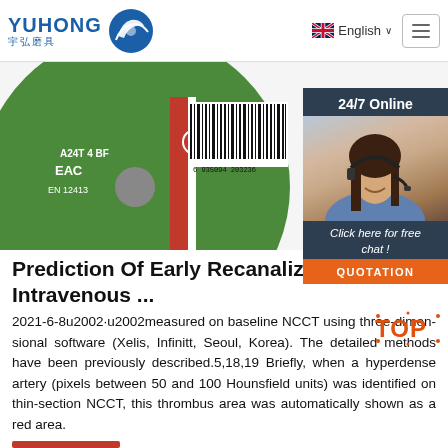[Figure (logo): Yuhong logo with blue wave icon and Chinese text 宇弘磨具]
[Figure (photo): Green grinding disc product photo with EAC certification mark and EN 12413 standard marking, A24T 4 BF label, and barcode]
[Figure (photo): 24/7 Online chat popup with woman wearing headset, Click here for free chat, and QUOTATION button]
Prediction Of Early Recanalizatio Intravenous ...
2021-6-8u2002·u2002measured on baseline NCCT using three-dimen-sional software (Xelis, Infinitt, Seoul, Korea). The detailed methods have been previously described.5,18,19 Briefly, when a hyperdense artery (pixels between 50 and 100 Hounsfield units) was identified on thin-section NCCT, this thrombus area was automatically shown as a red area.